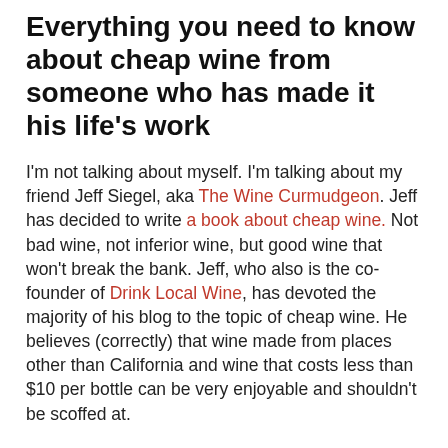Everything you need to know about cheap wine from someone who has made it his life's work
I'm not talking about myself. I'm talking about my friend Jeff Siegel, aka The Wine Curmudgeon. Jeff has decided to write a book about cheap wine. Not bad wine, not inferior wine, but good wine that won't break the bank. Jeff, who also is the co-founder of Drink Local Wine, has devoted the majority of his blog to the topic of cheap wine. He believes (correctly) that wine made from places other than California and wine that costs less than $10 per bottle can be very enjoyable and shouldn't be scoffed at.
Unfortunately, many consumers are intimidated by the overwhelming number of choices at the local liquor store (or those of you not in Colorado, your grocery store). Wine is a product that is meant to be enjoyed by more than just the Chablis and Brie crowd. But there are lots of choices when it comes to wine. Once you get past the funny tasting notes and meaningless scores, wine offers many different pleasures. You can share it with friends and families. You...